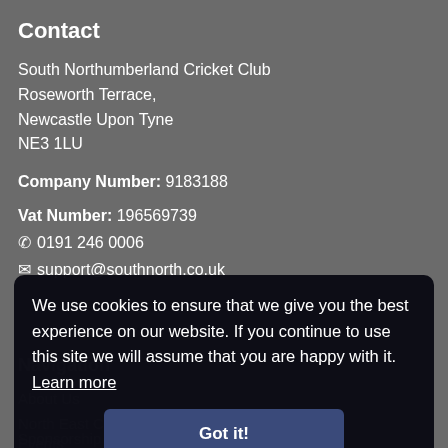Contact
South Northumberland Cricket Club
Roseworth Terrace,
Newcastle Upon Tyne
NE3 1LU
Company Number: 9183188
Vat Number: 196569739
✆ 0191 246 0006
✉ support@southnorth.co.uk
Navigation
About Us
North East Cricket Academy
Events
Sponsorship
We use cookies to ensure that we give you the best experience on our website. If you continue to use this site we will assume that you are happy with it.  Learn more